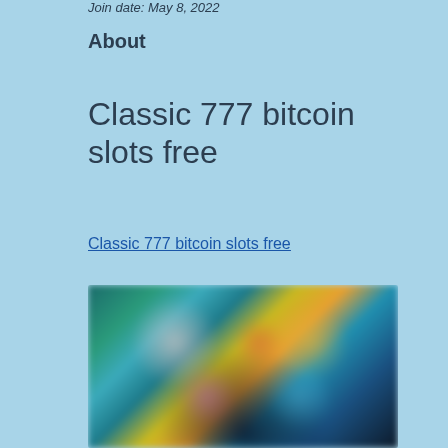Join date: May 8, 2022
About
Classic 777 bitcoin slots free
Classic 777 bitcoin slots free
[Figure (photo): Blurred screenshot of a casino/slots game interface showing colorful game thumbnails with characters]